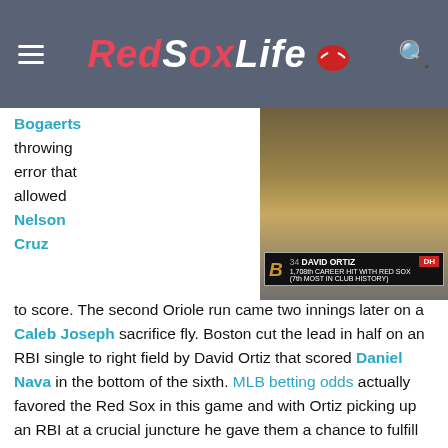RedSoxLife
[Figure (screenshot): Screenshot of David Ortiz getting his 1,708th career hit with Red Sox (7th most in club history), shown as on-screen scorebug graphic during a baseball broadcast]
Bogaerts throwing error that allowed Nelson Cruz to score. The second Oriole run came two innings later on a Caleb Joseph sacrifice fly. Boston cut the lead in half on an RBI single to right field by David Ortiz that scored Daniel Nava in the bottom of the sixth. MLB betting odds actually favored the Red Sox in this game and with Ortiz picking up an RBI at a crucial juncture he gave them a chance to fulfill that destiny, even though the end result didn't play out that way.

The Orioles got that run back and more in the seventh. An RBI single by Cruz brought one run in. Two more runs scored on a single by J.J. Hardy, with some help by a David Ross error. The fourth run of the inning came on a RBI single